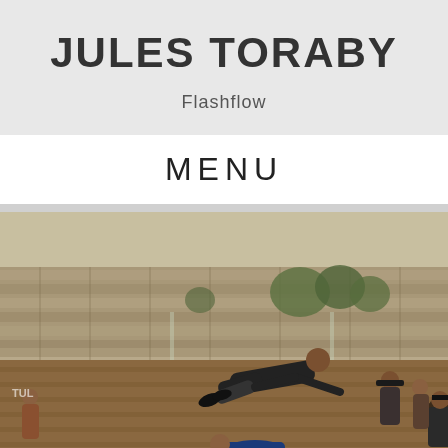JULES TORABY
Flashflow
MENU
[Figure (photo): Acrobatic performance in front of the Western Wall in Jerusalem. One person is balanced horizontally in the air being supported by another person who is lying on the ground, while other people walk by in the background.]